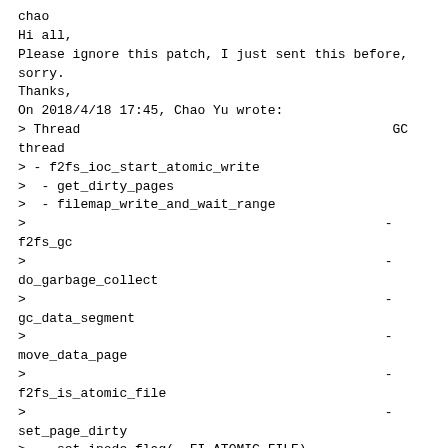chao
Hi all,
Please ignore this patch, I just sent this before, sorry.
Thanks,
On 2018/4/18 17:45, Chao Yu wrote:
> Thread                                        GC thread
> - f2fs_ioc_start_atomic_write
>  - get_dirty_pages
>  - filemap_write_and_wait_range
>                                              - f2fs_gc
>                                              - do_garbage_collect
>                                              - gc_data_segment
>                                              - move_data_page
>                                              - f2fs_is_atomic_file
>                                              - set_page_dirty
>  - set_inode_flag(, FI_ATOMIC_FILE)
>
> Dirty data page can still be generated by GC in race condition as